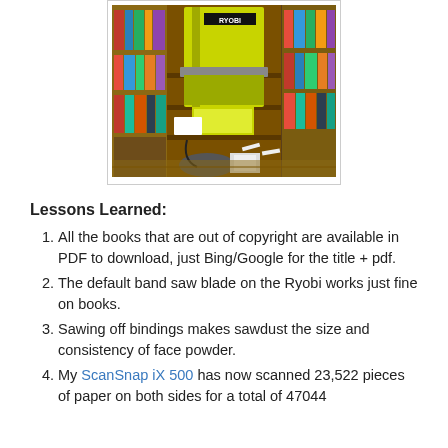[Figure (photo): A Ryobi band saw (yellow/green) sitting on a wooden bookshelf unit surrounded by bookshelves filled with books, in a home setting. There is a plastic tub and some papers/items on the floor beneath the shelf.]
Lessons Learned:
All the books that are out of copyright are available in PDF to download, just Bing/Google for the title + pdf.
The default band saw blade on the Ryobi works just fine on books.
Sawing off bindings makes sawdust the size and consistency of face powder.
My ScanSnap iX 500 has now scanned 23,522 pieces of paper on both sides for a total of 47044